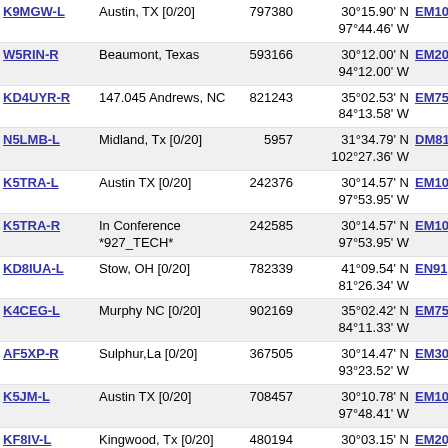| Callsign | Location | Node | Coordinates | Grid | Dist |
| --- | --- | --- | --- | --- | --- |
| K9MGW-L | Austin, TX [0/20] | 797380 | 30°15.90' N 97°44.46' W | EM10dg | 741.3 |
| W5RIN-R | Beaumont, Texas | 593166 | 30°12.00' N 94°12.00' W | EM20ve | 741.8 |
| KD4UYR-R | 147.045 Andrews, NC | 821243 | 35°02.53' N 84°13.58' W | EM75vb | 743.2 |
| N5LMB-L | Midland, Tx [0/20] | 5957 | 31°34.79' N 102°27.36' W | DM81sn | 743.3 |
| K5TRA-L | Austin TX [0/20] | 242376 | 30°14.57' N 97°53.95' W | EM10bf | 744.2 |
| K5TRA-R | In Conference *927_TECH* | 242585 | 30°14.57' N 97°53.95' W | EM10bf | 744.2 |
| KD8IUA-L | Stow, OH [0/20] | 782339 | 41°09.54' N 81°26.34' W | EN91gd | 744.3 |
| K4CEG-L | Murphy NC [0/20] | 902169 | 35°02.42' N 84°11.33' W | EM75va | 745.0 |
| AF5XP-R | Sulphur,La [0/20] | 367505 | 30°14.47' N 93°23.52' W | EM30hf | 745.5 |
| K5JM-L | Austin TX [0/20] | 708457 | 30°10.78' N 97°48.41' W | EM10ce | 747.7 |
| KF8IV-L | Kingwood, Tx [0/20] | 480194 | 30°03.15' N 95°12.29' W | EM20jb | 747.7 |
| W5CJR-L | Hattiesburg, MS | 168266 | 31°18.22' N 89°24.38' W | EM51hh | 748.1 |
| WB8OVQ-R | Uniontown ohio (1) | 828808 | 40°56.56' N 81°22.81' W | EN90hw | 748.3 |